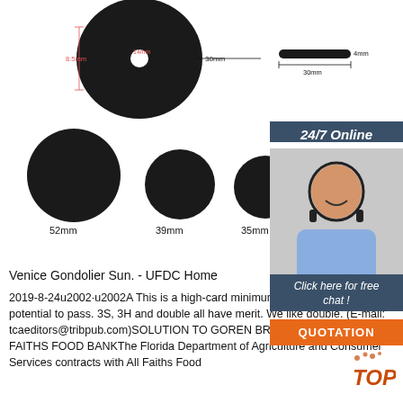[Figure (photo): Product diagram showing a black disc/washer with dimensional annotations (8.5mm, 14mm, 30mm) and a black cylindrical rod with annotations (4mm diameter, 30mm length). Below are five black circles of decreasing size labeled 52mm, 39mm, 35mm, 34mm, 30mm.]
[Figure (photo): Advertisement panel: '24/7 Online' header in dark blue, photo of smiling woman with headset, 'Click here for free chat!' text, and orange QUOTATION button.]
Venice Gondolier Sun. - UFDC Home
2019-8-24u2002·u2002A This is a high-card minimum, but with too much potential to pass. 3S, 3H and double all have merit. We like double. (E-mail: tcaeditors@tribpub.com)SOLUTION TO GOREN BRIDGE FROM ALL FAITHS FOOD BANKThe Florida Department of Agriculture and Consumer Services contracts with All Faiths Food